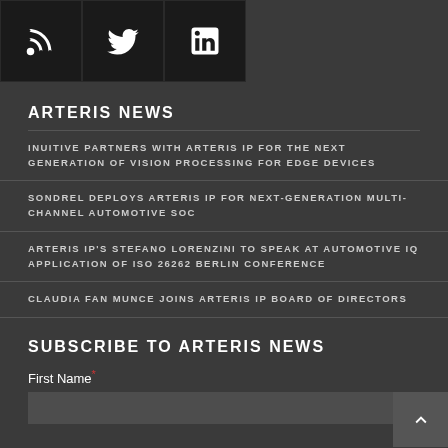[Figure (infographic): Three social media icon buttons in dark boxes: RSS feed, Twitter bird, LinkedIn 'in' logo]
ARTERIS NEWS
INUITIVE PARTNERS WITH ARTERIS IP FOR THE NEXT GENERATION OF VISION PROCESSING FOR EDGE DEVICES
SONDREL DEPLOYS ARTERIS IP FOR NEXT-GENERATION MULTI-CHANNEL AUTOMOTIVE SOC
ARTERIS IP'S STEFANO LORENZINI TO SPEAK AT AUTOMOTIVE IQ APPLICATION OF ISO 26262 BERLIN CONFERENCE
CLAUDIA FAN MUNCE JOINS ARTERIS IP BOARD OF DIRECTORS
SUBSCRIBE TO ARTERIS NEWS
First Name*